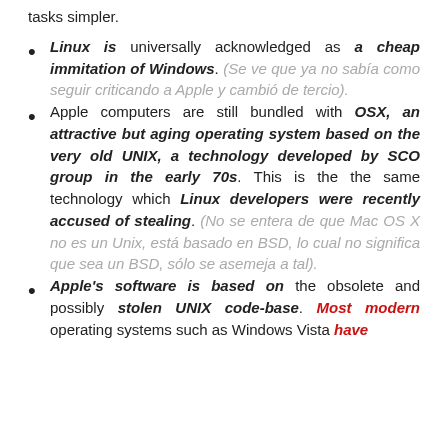tasks simpler.
Linux is universally acknowledged as a cheap immitation of Windows. (Se ve que ya no sabía como seguir criticando a Apple y cambió de tercio).
Apple computers are still bundled with OSX, an attractive but aging operating system based on the very old UNIX, a technology developed by SCO group in the early 70s. This is the the same technology which Linux developers were recently accused of stealing. (No se entera de que Mac OS X no es un Unix, está basado en BSD, lo cual no significa que sea un BSD, sólo se asemeja a tal).
Apple's software is based on the obsolete and possibly stolen UNIX code-base. Most modern operating systems such as Windows Vista have